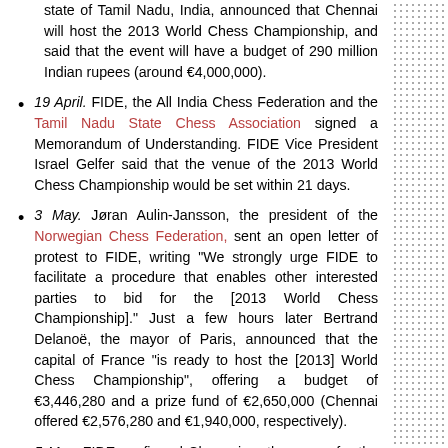state of Tamil Nadu, India, announced that Chennai will host the 2013 World Chess Championship, and said that the event will have a budget of 290 million Indian rupees (around €4,000,000).
19 April. FIDE, the All India Chess Federation and the Tamil Nadu State Chess Association signed a Memorandum of Understanding. FIDE Vice President Israel Gelfer said that the venue of the 2013 World Chess Championship would be set within 21 days.
3 May. Jøran Aulin-Jansson, the president of the Norwegian Chess Federation, sent an open letter of protest to FIDE, writing "We strongly urge FIDE to facilitate a procedure that enables other interested parties to bid for the [2013 World Chess Championship]." Just a few hours later Bertrand Delanoë, the mayor of Paris, announced that the capital of France "is ready to host the [2013] World Chess Championship", offering a budget of €3,446,280 and a prize fund of €2,650,000 (Chennai offered €2,576,280 and €1,940,000, respectively).
5 May. FIDE confirmed Chennai as the venue for the 2013 World Chess Championship.